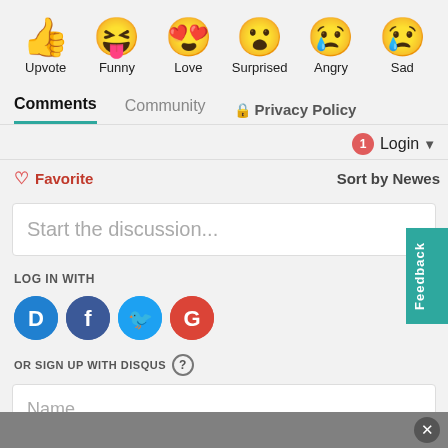[Figure (infographic): Row of six reaction emoji icons with labels: Upvote (thumbs up), Funny (squinting tongue), Love (heart eyes), Surprised (open mouth), Angry (crying/angry), Sad (tear drop)]
Upvote  Funny  Love  Surprised  Angry  Sad
Comments  Community  Privacy Policy
1  Login
Favorite  Sort by Newest
Start the discussion...
LOG IN WITH
[Figure (infographic): Four social login buttons: Disqus (D), Facebook (f), Twitter bird, Google (G)]
OR SIGN UP WITH DISQUS ?
Name
Feedback